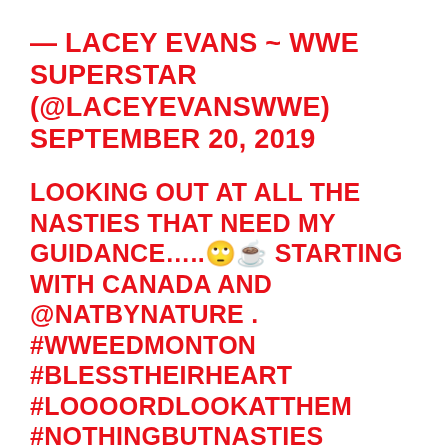— LACEY EVANS ~ WWE SUPERSTAR (@LACEYEVANSWWE) SEPTEMBER 20, 2019
LOOKING OUT AT ALL THE NASTIES THAT NEED MY GUIDANCE…..🙄☕ STARTING WITH CANADA AND @NATBYNATURE . #WWEEDMONTON #BLESSTHEIRHEART #LOOOORDLOOKATTHEM #NOTHINGBUTNASTIES #LIMITLESSLADY PIC.TWITTER.COM/JZ9ZMQDNXF